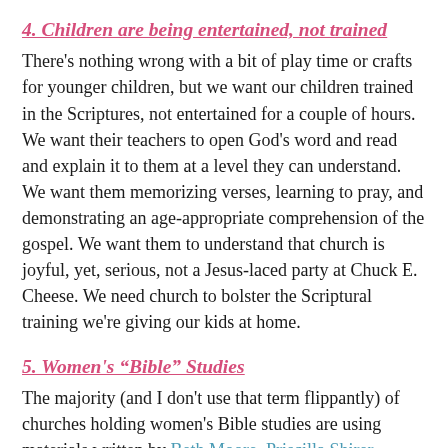4. Children are being entertained, not trained
There's nothing wrong with a bit of play time or crafts for younger children, but we want our children trained in the Scriptures, not entertained for a couple of hours. We want their teachers to open God's word and read and explain it to them at a level they can understand. We want them memorizing verses, learning to pray, and demonstrating an age-appropriate comprehension of the gospel. We want them to understand that church is joyful, yet, serious, not a Jesus-laced party at Chuck E. Cheese. We need church to bolster the Scriptural training we're giving our kids at home.
5. Women's “Bible” Studies
The majority (and I don't use that term flippantly) of churches holding women's Bible studies are using materials written by Beth Moore, Priscilla Shirer